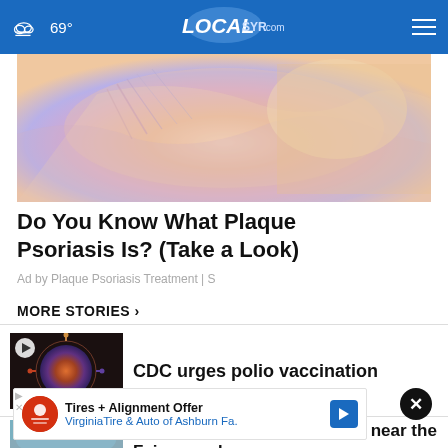69° LOCALsyr.com
[Figure (photo): Close-up photo of skin showing plaque psoriasis condition, pinkish-blue tones on skin]
Do You Know What Plaque Psoriasis Is? (Take a Look)
Ad by Plaque Psoriasis Treatment | S
MORE STORIES ›
[Figure (photo): Thumbnail of colorful spherical viral/bacterial cell image with play button icon]
CDC urges polio vaccination
[Figure (photo): Thumbnail of outdoor road scene near fairgrounds with play button]
Temporary slowdown on I-69 near the Fairgrounds ....
Tires + Alignment Offer
VirginiaTire & Auto of Ashburn Fa.